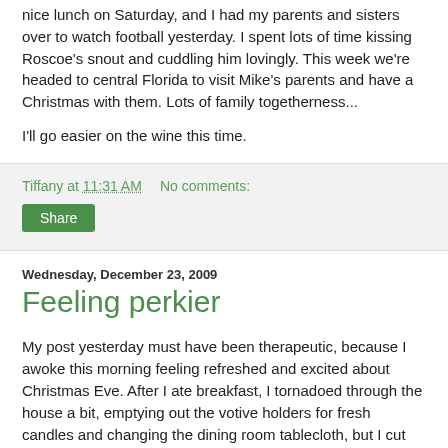nice lunch on Saturday, and I had my parents and sisters over to watch football yesterday. I spent lots of time kissing Roscoe's snout and cuddling him lovingly. This week we're headed to central Florida to visit Mike's parents and have a Christmas with them. Lots of family togetherness...
I'll go easier on the wine this time.
Tiffany at 11:31 AM    No comments:
Share
Wednesday, December 23, 2009
Feeling perkier
My post yesterday must have been therapeutic, because I awoke this morning feeling refreshed and excited about Christmas Eve. After I ate breakfast, I tornadoed through the house a bit, emptying out the votive holders for fresh candles and changing the dining room tablecloth, but I cut myself off pretty quickly.